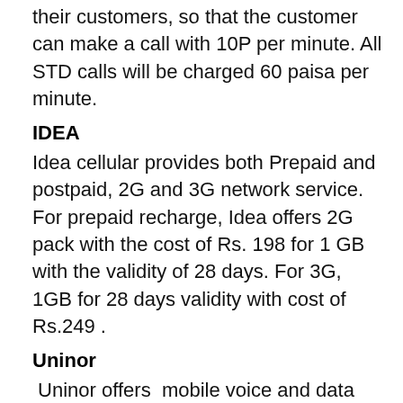their customers, so that the customer can make a call with 10P per minute. All STD calls will be charged 60 paisa per minute.
IDEA
Idea cellular provides both Prepaid and postpaid, 2G and 3G network service. For prepaid recharge, Idea offers 2G pack with the cost of Rs. 198 for 1 GB with the validity of 28 days. For 3G, 1GB for 28 days validity with cost of Rs.249 .
Uninor
Uninor offers  mobile voice and data services based on the GSM technology. More than, 30 million customers in the state of Goa. Also Uninor got license in 6 circles including Goa. It provides only 2G service, the cost 1.15 GB data pack is Rs. 115 with 28 days validity.